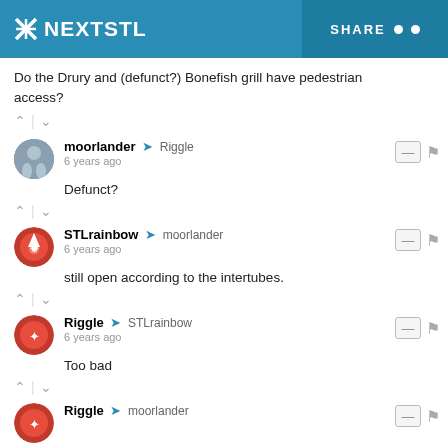NEXTSTL  SHARE
Do the Drury and (defunct?) Bonefish grill have pedestrian access?
moorlander → Riggle
6 years ago
Defunct?
STLrainbow → moorlander
6 years ago
still open according to the intertubes.
Riggle → STLrainbow
6 years ago
Too bad
Riggle → moorlander
6 years ago